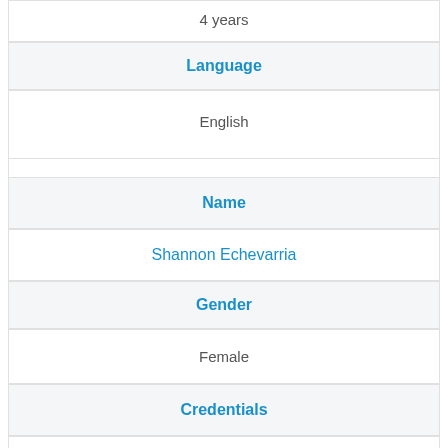4 years
Language
English
Name
Shannon Echevarria
Gender
Female
Credentials
MA, LPC